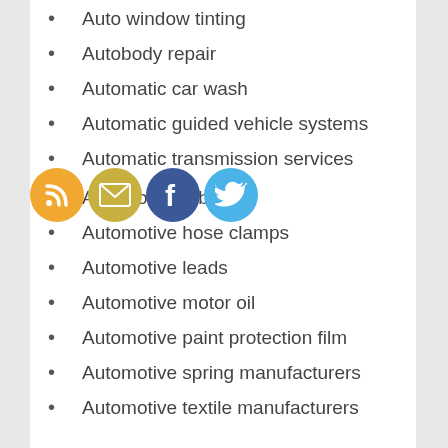Auto window tinting
Autobody repair
Automatic car wash
Automatic guided vehicle systems
Automatic transmission services
[Figure (infographic): Four social media icon circles: RSS (orange), Email (gold/yellow), Facebook (blue), Twitter (light blue)]
Automotive fabrics
Automotive hose clamps
Automotive leads
Automotive motor oil
Automotive paint protection film
Automotive spring manufacturers
Automotive textile manufacturers